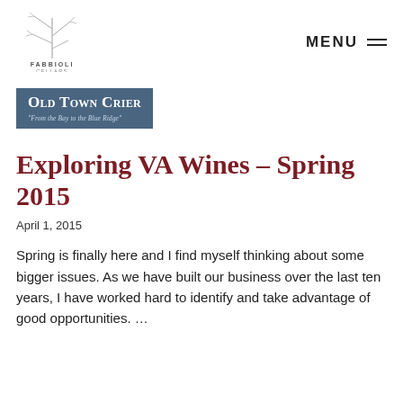[Figure (logo): Fabbioli Cellars logo with stylized plant/leaf sketch and text 'FABBIOLI CELLARS' below]
MENU ≡
[Figure (logo): Old Town Crier banner: dark blue/steel background with text 'Old Town Crier' and tagline '"From the Bay to the Blue Ridge"']
Exploring VA Wines – Spring 2015
April 1, 2015
Spring is finally here and I find myself thinking about some bigger issues. As we have built our business over the last ten years, I have worked hard to identify and take advantage of good opportunities. …